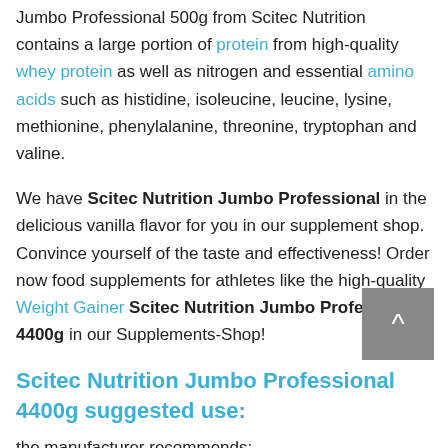Jumbo Professional 500g from Scitec Nutrition contains a large portion of protein from high-quality whey protein as well as nitrogen and essential amino acids such as histidine, isoleucine, leucine, lysine, methionine, phenylalanine, threonine, tryptophan and valine.
We have Scitec Nutrition Jumbo Professional in the delicious vanilla flavor for you in our supplement shop. Convince yourself of the taste and effectiveness! Order now food supplements for athletes like the high-quality Weight Gainer Scitec Nutrition Jumbo Professional 4400g in our Supplements-Shop!
Scitec Nutrition Jumbo Professional 4400g suggested use:
the manufacturer recommends: